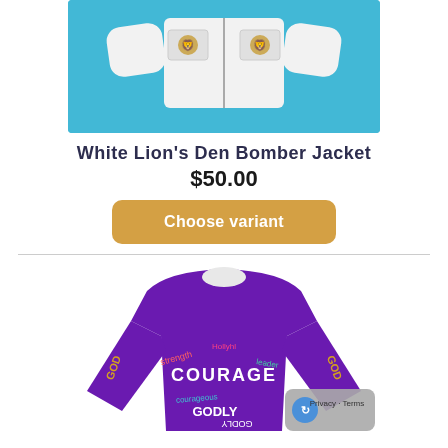[Figure (photo): White bomber jacket with lion logo on blue background, shown folded/flat lay]
White Lion's Den Bomber Jacket
$50.00
Choose variant
[Figure (photo): Purple long-sleeve shirt with words like COURAGE, GODLY printed in various colors]